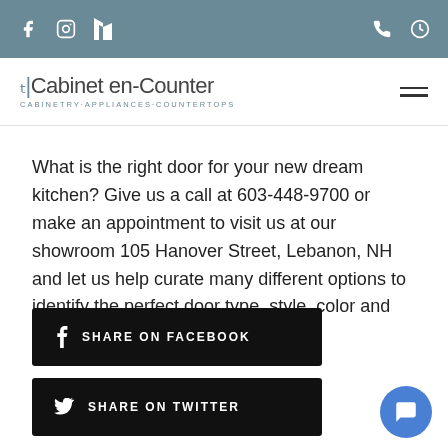The Cabinet en-Counter — CABINETRY·APPLIANCES·COUNTERTOPS
What is the right door for your new dream kitchen? Give us a call at 603-448-9700 or make an appointment to visit us at our showroom 105 Hanover Street, Lebanon, NH and let us help curate many different options to identify the perfect door type, style, color and texture for your dream kitchen.
SHARE ON FACEBOOK
SHARE ON TWITTER